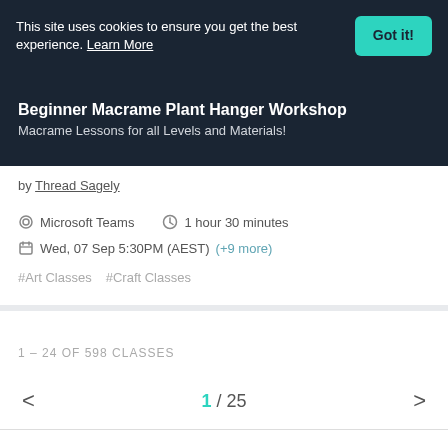This site uses cookies to ensure you get the best experience. Learn More
Beginner Macrame Plant Hanger Workshop
Macrame Lessons for all Levels and Materials!
by Thread Sagely
Microsoft Teams   1 hour 30 minutes
Wed, 07 Sep 5:30PM (AEST) (+9 more)
#Art Classes   #Craft Classes
1 - 24 OF 598 CLASSES
1 / 25